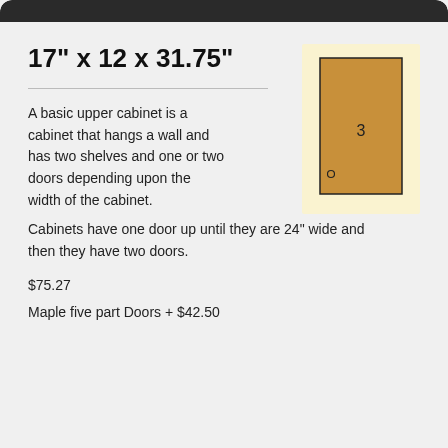17" x 12 x 31.75"
[Figure (illustration): Cabinet diagram showing a tall rectangular door panel with a small circle (knob) near the bottom left, filled with tan/brown color, set against a pale yellow background.]
A basic upper cabinet is a cabinet that hangs a wall and has two shelves and one or two doors depending upon the width of the cabinet.
Cabinets have one door up until they are 24" wide and then they have two doors.
$75.27
Maple five part Doors + $42.50